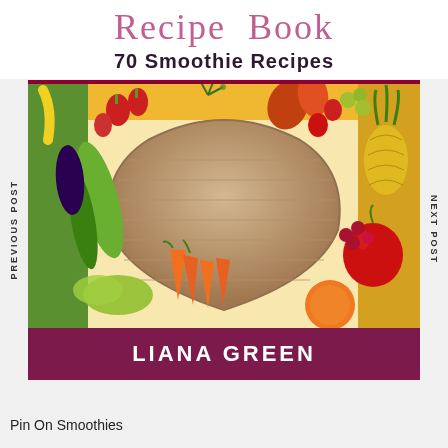Recipe Book
70 Smoothie Recipes
[Figure (photo): Book cover showing a heart-shaped arrangement of colorful fruits and vegetables (zucchini, carrots, radishes, dill, peppers, strawberries, apple, orange, pineapple, lettuce, raspberries) surrounding a wooden plank heart center. Author name LIANA GREEN in white on a dark magenta/maroon bar at the bottom. Left sidebar text: PREVIOUS POST. Right sidebar text: NEXT POST.]
Pin On Smoothies